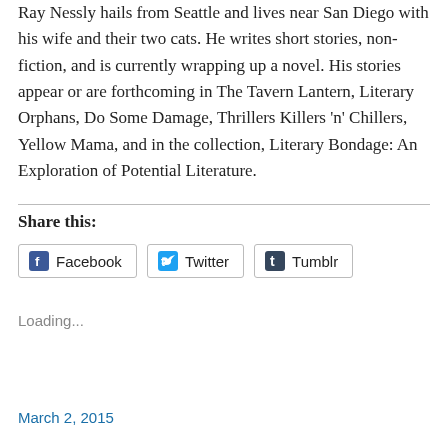Ray Nessly hails from Seattle and lives near San Diego with his wife and their two cats. He writes short stories, non-fiction, and is currently wrapping up a novel. His stories appear or are forthcoming in The Tavern Lantern, Literary Orphans, Do Some Damage, Thrillers Killers 'n' Chillers, Yellow Mama, and in the collection, Literary Bondage: An Exploration of Potential Literature.
Share this:
Facebook   Twitter   Tumblr
Loading...
March 2, 2015